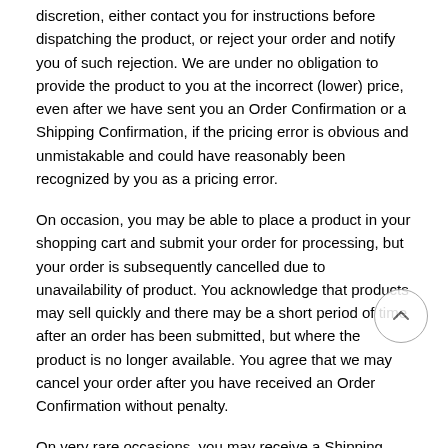discretion, either contact you for instructions before dispatching the product, or reject your order and notify you of such rejection. We are under no obligation to provide the product to you at the incorrect (lower) price, even after we have sent you an Order Confirmation or a Shipping Confirmation, if the pricing error is obvious and unmistakable and could have reasonably been recognized by you as a pricing error.
On occasion, you may be able to place a product in your shopping cart and submit your order for processing, but your order is subsequently cancelled due to unavailability of product. You acknowledge that products may sell quickly and there may be a short period of time after an order has been submitted, but where the product is no longer available. You agree that we may cancel your order after you have received an Order Confirmation without penalty.
On very rare occasions, you may receive a Shipping Confirmation from us, but the product is no longer available in our inventory. You agree that we may rescind our acceptance and cancel your order without penalty if we are unable to ship the product you ordered due to unavailability.
SALES TAX
TowBlazer, Inc. may charge sales tax for merchandise ordered on this